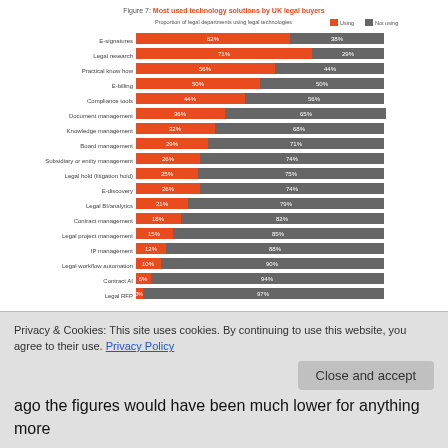Figure 7: Most used technology solutions by UK legal buyers
[Figure (stacked-bar-chart): Most used technology solutions by UK legal buyers]
In the latest ‘State of the UK Legal Market’ report, Thomson Reuters has found legal tech adoption among many clients remains at the very early stages. For example, only 18% were using a contract management solution. However the flip-side of
Privacy & Cookies: This site uses cookies. By continuing to use this website, you agree to their use. Privacy Policy
Close and accept
ago the figures would have been much lower for anything more